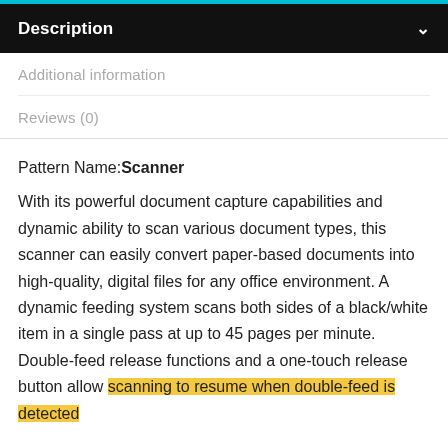Description
Additional information
Reviews (0)
Pattern Name: Scanner
With its powerful document capture capabilities and dynamic ability to scan various document types, this scanner can easily convert paper-based documents into high-quality, digital files for any office environment. A dynamic feeding system scans both sides of a black/white item in a single pass at up to 45 pages per minute. Double-feed release functions and a one-touch release button allow scanning to resume when double-feed is detected